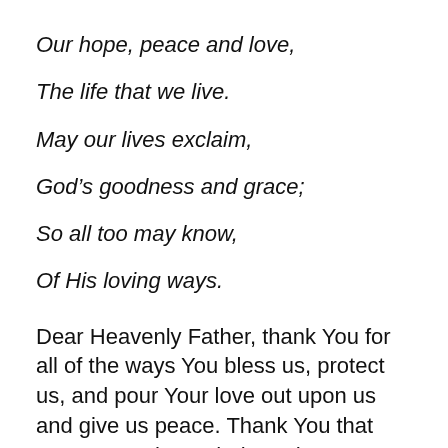Our hope, peace and love,
The life that we live.
May our lives exclaim,
God’s goodness and grace;
So all too may know,
Of His loving ways.
Dear Heavenly Father, thank You for all of the ways You bless us, protect us, and pour Your love out upon us and give us peace. Thank You that You are our hope, help and peace. Forgive us for the times that we neglect to